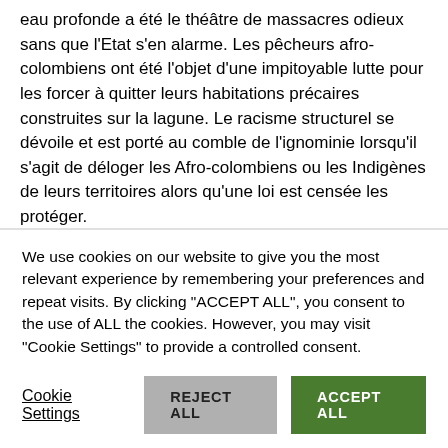eau profonde a été le théâtre de massacres odieux sans que l'Etat s'en alarme. Les pêcheurs afro-colombiens ont été l'objet d'une impitoyable lutte pour les forcer à quitter leurs habitations précaires construites sur la lagune. Le racisme structurel se dévoile et est porté au comble de l'ignominie lorsqu'il s'agit de déloger les Afro-colombiens ou les Indigènes de leurs territoires alors qu'une loi est censée les protéger.
Ce qui se passe à Cali où l'armée et les paramilitaires font régner un état de terreur dans une ville totalement militarisée n'est pas une surprise. En Colombie, la culture de la répression est devenue la règle.  Le gouvernement assure que c'est pour
We use cookies on our website to give you the most relevant experience by remembering your preferences and repeat visits. By clicking "ACCEPT ALL", you consent to the use of ALL the cookies. However, you may visit "Cookie Settings" to provide a controlled consent.